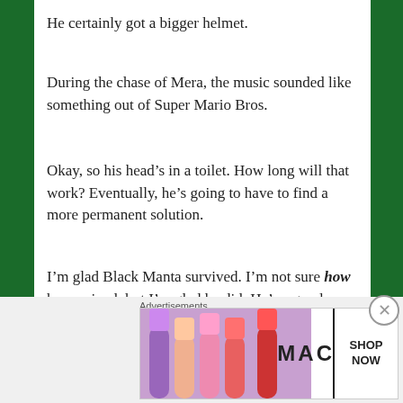He certainly got a bigger helmet.
During the chase of Mera, the music sounded like something out of Super Mario Bros.
Okay, so his head’s in a toilet. How long will that work? Eventually, he’s going to have to find a more permanent solution.
I’m glad Black Manta survived. I’m not sure how he survived, but I’m glad he did. He’s a good villain, but he wasn’t the primary villain of this movie. He needs a little more than one fight as Black Manta before he’s toast, probably as a member of the teased
Advertisements
[Figure (photo): MAC Cosmetics advertisement showing lipsticks with SHOP NOW button]